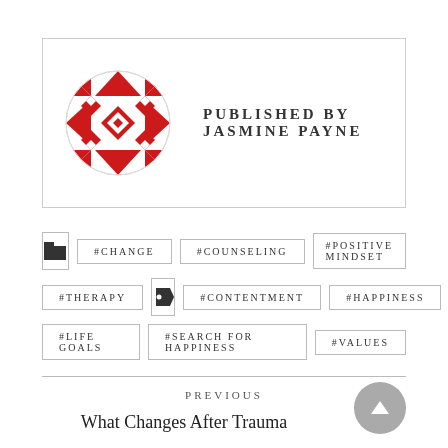[Figure (logo): Red geometric quilt-pattern circular logo]
PUBLISHED BY JASMINE PAYNE
#CHANGE
#COUNSELING
#POSITIVE MINDSET
#THERAPY
#CONTENTMENT
#HAPPINESS
#LIFE GOALS
#SEARCH FOR HAPPINESS
#VALUES
PREVIOUS
What Changes After Trauma